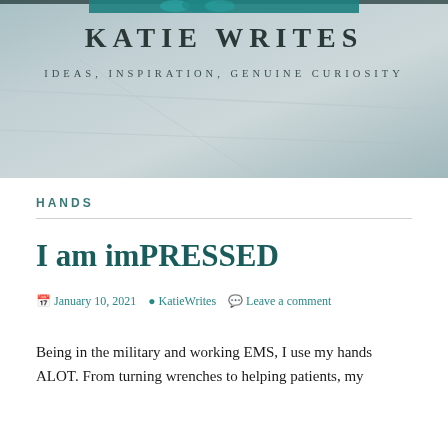[Figure (illustration): Blog header background image showing an open notebook/book pages with teal decorative element at top center, muted blue-grey tones]
KATIE WRITES
IDEAS, INSPIRATION, GENUINE CURIOSITY
HANDS
I am imPRESSED
January 10, 2021  KatieWrites  Leave a comment
Being in the military and working EMS, I use my hands ALOT. From turning wrenches to helping patients, my